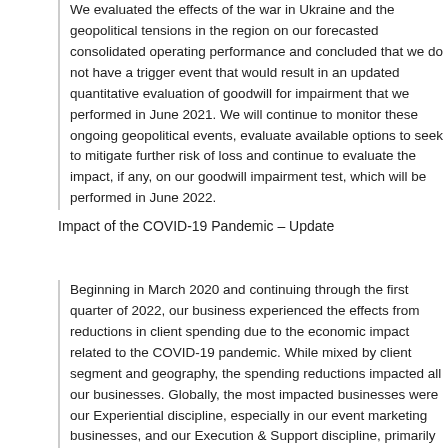We evaluated the effects of the war in Ukraine and the geopolitical tensions in the region on our forecasted consolidated operating performance and concluded that we do not have a trigger event that would result in an updated quantitative evaluation of goodwill for impairment that we performed in June 2021. We will continue to monitor these ongoing geopolitical events, evaluate available options to seek to mitigate further risk of loss and continue to evaluate the impact, if any, on our goodwill impairment test, which will be performed in June 2022.
Impact of the COVID-19 Pandemic – Update
Beginning in March 2020 and continuing through the first quarter of 2022, our business experienced the effects from reductions in client spending due to the economic impact related to the COVID-19 pandemic. While mixed by client segment and geography, the spending reductions impacted all our businesses and disciplines. Globally, the most impacted businesses were our Experiential discipline, especially in our event marketing businesses, and our Execution & Support discipline, primarily in field marketing. Most of our markets began